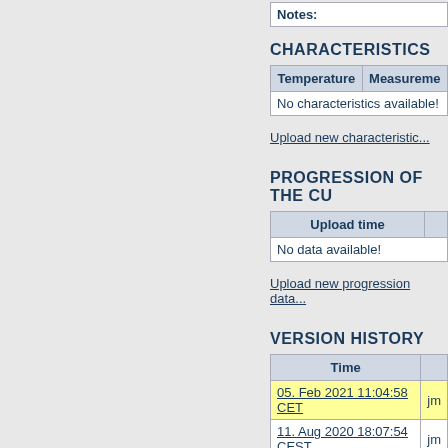| Notes: |
| --- |
CHARACTERISTICS
| Temperature | Measurement |
| --- | --- |
| No characteristics available! |  |
Upload new characteristic...
PROGRESSION OF THE CU
| Upload time |
| --- |
| No data available! |
Upload new progression data...
VERSION HISTORY
| Time |
| --- |
| 05. Feb 2021 11:04:58 CET | jm |
| 11. Aug 2020 18:07:54 CEST | jm |
| 11. Aug 2020 17:50:29 CEST | jm |
| 06. Mar 2020 12:55:16 CET | jm |